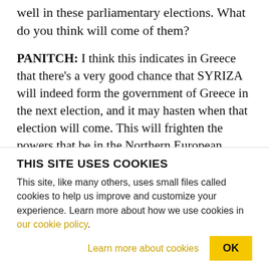well in these parliamentary elections. What do you think will come of them?
PANITCH: I think this indicates in Greece that there's a very good chance that SYRIZA will indeed form the government of Greece in the next election, and it may hasten when that election will come. This will frighten the powers that be in the Northern European countries. It will frighten international bond markets. It will frighten the United States. And it's not impossible that because the left also did well in
THIS SITE USES COOKIES
This site, like many others, uses small files called cookies to help us improve and customize your experience. Learn more about how we use cookies in our cookie policy.
Learn more about cookies
OK